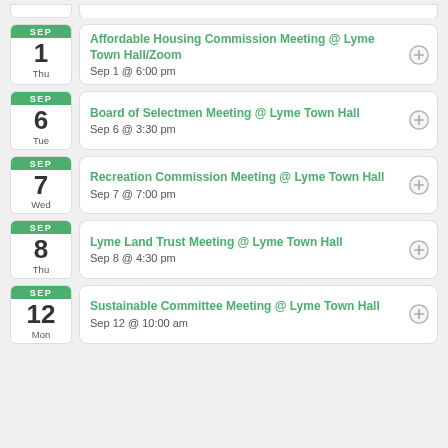SEP 1 Thu — Affordable Housing Commission Meeting @ Lyme Town Hall/Zoom — Sep 1 @ 6:00 pm
SEP 6 Tue — Board of Selectmen Meeting @ Lyme Town Hall — Sep 6 @ 3:30 pm
SEP 7 Wed — Recreation Commission Meeting @ Lyme Town Hall — Sep 7 @ 7:00 pm
SEP 8 Thu — Lyme Land Trust Meeting @ Lyme Town Hall — Sep 8 @ 4:30 pm
SEP 12 Mon — Sustainable Committee Meeting @ Lyme Town Hall — Sep 12 @ 10:00 am